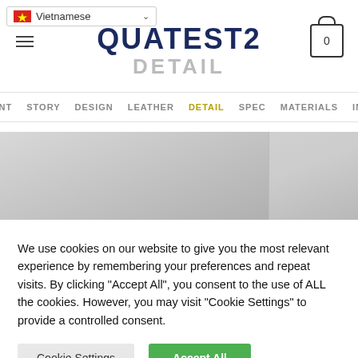QUATEST2 — DETAIL
POINT  STORY  DESIGN  LEATHER  DETAIL  SPEC  MATERIALS  INFO
[Figure (photo): Product detail image showing a light grey surface split into two panels]
We use cookies on our website to give you the most relevant experience by remembering your preferences and repeat visits. By clicking "Accept All", you consent to the use of ALL the cookies. However, you may visit "Cookie Settings" to provide a controlled consent.